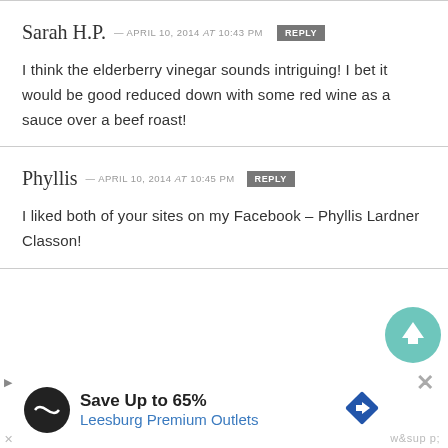Sarah H.P. — APRIL 10, 2014 at 10:43 PM [REPLY]
I think the elderberry vinegar sounds intriguing! I bet it would be good reduced down with some red wine as a sauce over a beef roast!
Phyllis — APRIL 10, 2014 at 10:45 PM [REPLY]
I liked both of your sites on my Facebook – Phyllis Lardner Classon!
[Figure (other): Advertisement banner for Leesburg Premium Outlets: Save Up to 65%]